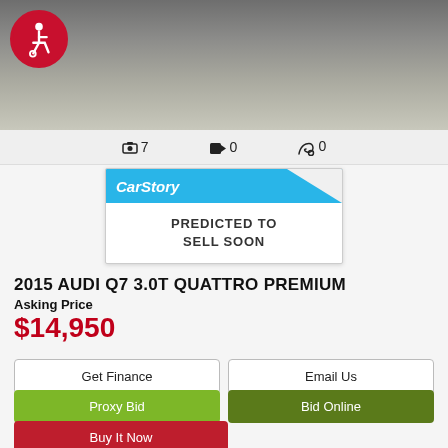[Figure (photo): Partial view of a vehicle (likely Audi Q7) from above/behind on pavement, with a red accessibility symbol badge in top-left corner]
📷 7   🎥 0   🎫 0
[Figure (infographic): CarStory widget with blue header and text 'PREDICTED TO SELL SOON']
2015 AUDI Q7 3.0T QUATTRO PREMIUM
Asking Price
$14,950
Get Finance
Email Us
Proxy Bid
Bid Online
Buy It Now
Stock Num: FD016583  Mileage: 119,284
Color: Black - Orca Black Metallic  Transmission: Automatic